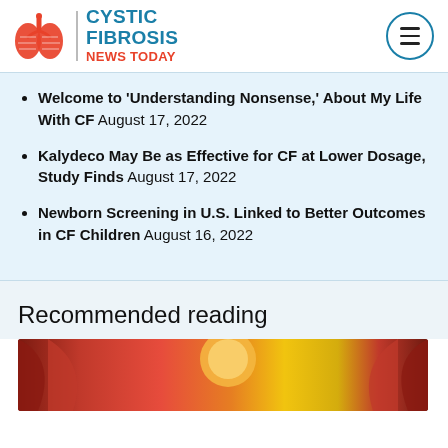Cystic Fibrosis News Today
Welcome to 'Understanding Nonsense,' About My Life With CF August 17, 2022
Kalydeco May Be as Effective for CF at Lower Dosage, Study Finds August 17, 2022
Newborn Screening in U.S. Linked to Better Outcomes in CF Children August 16, 2022
Recommended reading
[Figure (illustration): Colorful illustration with red and golden/yellow tones, partially visible at bottom of page]